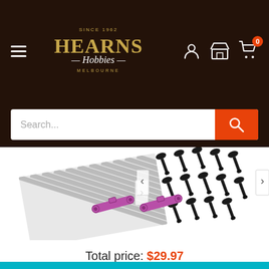Hearns Hobbies
[Figure (screenshot): Navigation bar with hamburger menu, Hearns Hobbies logo, user icon, store icon, and cart icon with badge 0]
[Figure (screenshot): Search bar with text 'Search...' and orange search button]
[Figure (photo): Product image showing a striped/grid mat or sheet on left, and small black screws/bolts set on the right, with navigation arrows]
[Figure (photo): Purple aluminum RC car body mount tie bars, a pair]
Total price: $29.97